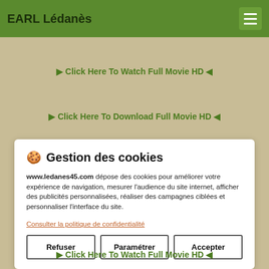EARL Lédanès
▶ Click Here To Watch Full Movie HD ◀
▶ Click Here To Download Full Movie HD ◀
🍪 Gestion des cookies
www.ledanes45.com dépose des cookies pour améliorer votre expérience de navigation, mesurer l'audience du site internet, afficher des publicités personnalisées, réaliser des campagnes ciblées et personnaliser l'interface du site.
Consulter la politique de confidentialité
Refuser    Paramétrer    Accepter
▶ Click Here To Watch Full Movie HD ◀